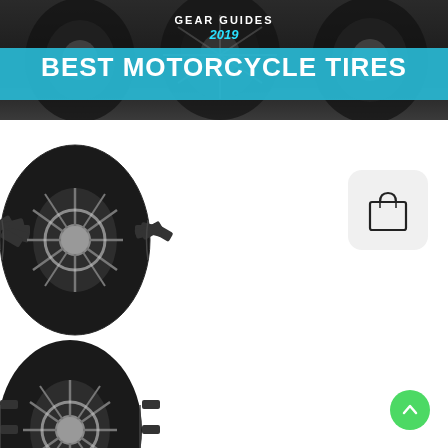[Figure (photo): Header banner with dark background showing motorcycle tires/wheels silhouettes, with 'GEAR GUIDES' text and '2019' in blue italic, and 'BEST MOTORCYCLE TIRES' in white bold text over a blue paint stroke]
[Figure (photo): Motorcycle tire with spoked wheel visible, dark tread pattern, photographed against white background - upper tire image]
[Figure (illustration): Shopping bag icon (line art) on a light gray rounded rectangle background]
[Figure (photo): Motorcycle tire with spoked wheel visible, dark tread pattern, photographed against white background - lower tire image (partial)]
[Figure (illustration): Green circular scroll-to-top button with upward arrow icon]